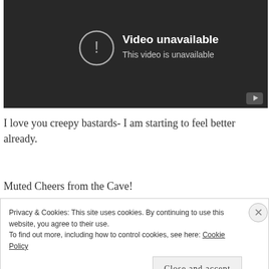[Figure (screenshot): YouTube video player showing 'Video unavailable' error message on dark background with exclamation icon and YouTube play button in bottom right corner.]
I love you creepy bastards- I am starting to feel better already.
Muted Cheers from the Cave!
Privacy & Cookies: This site uses cookies. By continuing to use this website, you agree to their use.
To find out more, including how to control cookies, see here: Cookie Policy
Close and accept